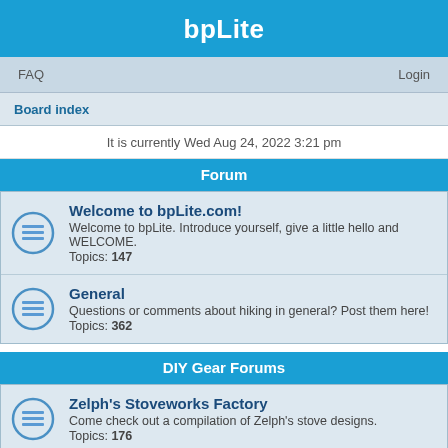bpLite
FAQ    Login
Board index
It is currently Wed Aug 24, 2022 3:21 pm
Forum
Welcome to bpLite.com!
Welcome to bpLite. Introduce yourself, give a little hello and WELCOME.
Topics: 147
General
Questions or comments about hiking in general? Post them here!
Topics: 362
DIY Gear Forums
Zelph's Stoveworks Factory
Come check out a compilation of Zelph's stove designs.
Topics: 176
Homemade Stove Ideas
Post your new stove ideas here! All stoves welcome.
Topics: 397
Stove Making Tips
Always good to have some helpful tips when making stove.